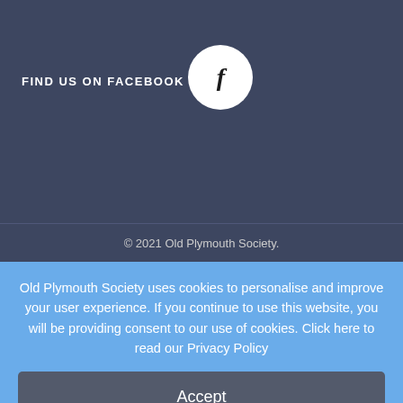FIND US ON FACEBOOK
[Figure (logo): White circle with a lowercase italic 'f' Facebook logo]
© 2021 Old Plymouth Society.
Old Plymouth Society uses cookies to personalise and improve your user experience. If you continue to use this website, you will be providing consent to our use of cookies. Click here to read our Privacy Policy
Accept